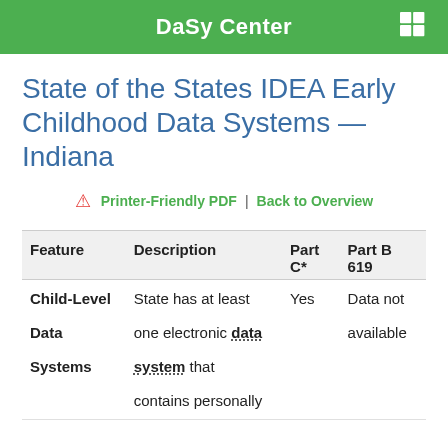DaSy Center
State of the States IDEA Early Childhood Data Systems — Indiana
Printer-Friendly PDF | Back to Overview
| Feature | Description | Part C* | Part B 619 |
| --- | --- | --- | --- |
| Child-Level Data Systems | State has at least one electronic data system that contains personally | Yes | Data not available |